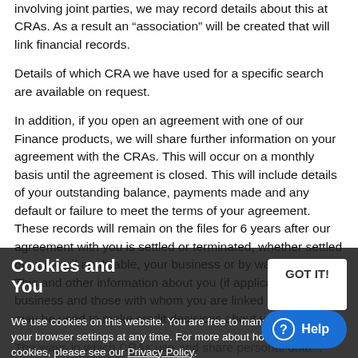involving joint parties, we may record details about this at CRAs. As a result an “association” will be created that will link financial records.
Details of which CRA we have used for a specific search are available on request.
In addition, if you open an agreement with one of our Finance products, we will share further information on your agreement with the CRAs. This will occur on a monthly basis until the agreement is closed. This will include details of your outstanding balance, payments made and any default or failure to meet the terms of your agreement. These records will remain on the files for 6 years after our agreement with you is settled or terminated, whether settled by you or, if applicable, your business or by way of default. This and other information about you (if applicable, your business and those with whom you are linked financially) may be used to make credit decisions about you in future.
Cookies and You
We use cookies on this website. You are free to manage these via your browser settings at any time. For more about how we use cookies, please see our Privacy Policy.
The ways in which CRAs use and share personal data...